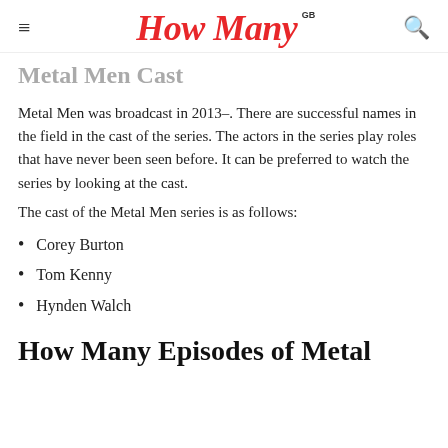How Many GB
Metal Men Cast
Metal Men was broadcast in 2013–. There are successful names in the field in the cast of the series. The actors in the series play roles that have never been seen before. It can be preferred to watch the series by looking at the cast.
The cast of the Metal Men series is as follows:
Corey Burton
Tom Kenny
Hynden Walch
How Many Episodes of Metal